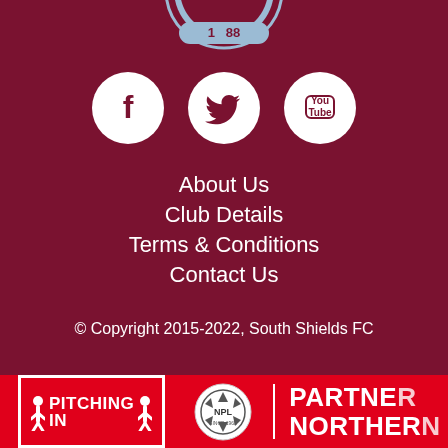[Figure (logo): South Shields FC club badge, partially cropped at top]
[Figure (illustration): Three social media icons in white circles on dark red background: Facebook, Twitter, YouTube]
About Us
Club Details
Terms & Conditions
Contact Us
© Copyright 2015-2022, South Shields FC
[Figure (logo): Pitching In logo in white box on red background]
[Figure (logo): NPL (Northern Premier League) football badge logo]
PARTNER
NORTHERN